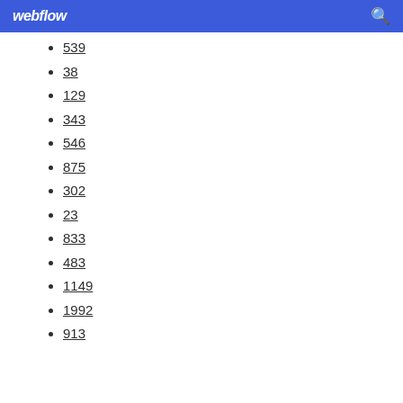webflow
539
38
129
343
546
875
302
23
833
483
1149
1992
913